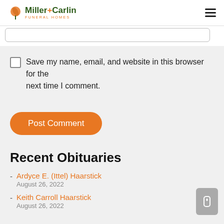Miller-Carlin Funeral Homes
Save my name, email, and website in this browser for the next time I comment.
Post Comment
Recent Obituaries
Ardyce E. (Ittel) Haarstick — August 26, 2022
Keith Carroll Haarstick — August 26, 2022